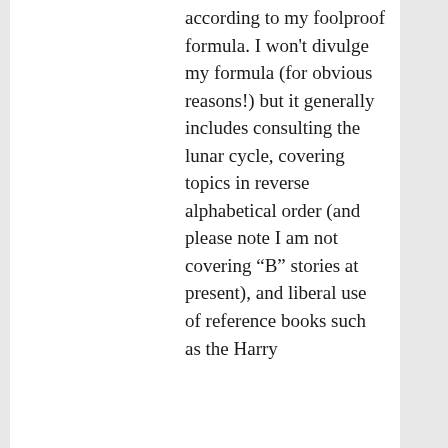according to my foolproof formula. I won't divulge my formula (for obvious reasons!) but it generally includes consulting the lunar cycle, covering topics in reverse alphabetical order (and please note I am not covering “B” stories at present), and liberal use of reference books such as the Harry